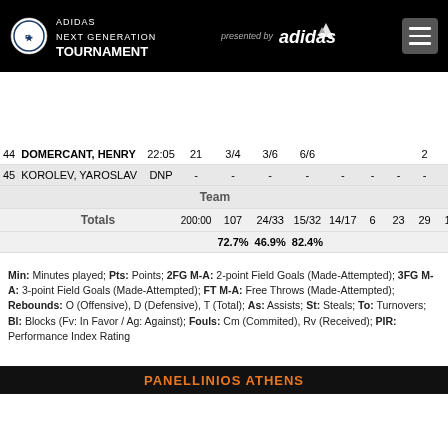ADIDAS NEXT GENERATION TOURNAMENT presented by adidas
| # | Player | Min | Pts | 2FG | 3FG | FT | O | D | T | As | St | To |
| --- | --- | --- | --- | --- | --- | --- | --- | --- | --- | --- | --- | --- |
| 44 | DOMERCANT, HENRY | 22:05 | 21 | 3/4 | 3/6 | 6/6 |  |  |  | 2 | 1 | 1 |
| 45 | KOROLEV, YAROSLAV | DNP | - | - | - | - | - | - | - | - | - | - |
|  | Team |  |  |  |  |  |  |  |  |  |  | 4 |
|  | Totals | 200:00 | 107 | 24/33 | 15/32 | 14/17 | 6 | 23 | 29 | 12 | 18 | 9 |
|  |  |  |  | 72.7% | 46.9% | 82.4% |  |  |  |  |  |  |
Min: Minutes played; Pts: Points; 2FG M-A: 2-point Field Goals (Made-Attempted); 3FG M-A: 3-point Field Goals (Made-Attempted); FT M-A: Free Throws (Made-Attempted); Rebounds: O (Offensive), D (Defensive), T (Total); As: Assists; St: Steals; To: Turnovers; Bl: Blocks (Fv: In Favor / Ag: Against); Fouls: Cm (Commited), Rv (Received); PIR: Performance Index Rating
PANELLINIOS ATHENS
| # | Player | Min | Pts | 2FG | 3FG | FT | O | D | T | As | St |
| --- | --- | --- | --- | --- | --- | --- | --- | --- | --- | --- | --- |
| 4 | SIMS, LEWIS | 29:48 | 15 | 6/10 | 0/1 | 3/5 | 2 | 6 | 8 | 3 |  |
| 5 | ARGYROPOULOS, NIKOS | 21:56 | 2 | 1/4 |  |  | 1 | 3 | 4 | 3 | 1 |